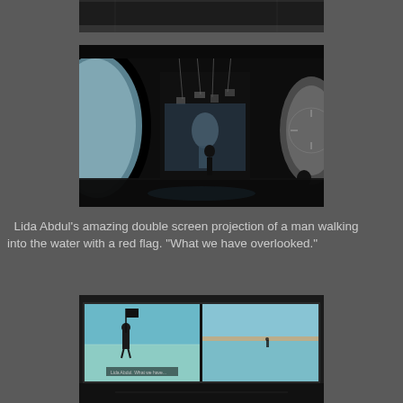[Figure (photo): Partial top edge of a dark exhibition room photo, cropped]
[Figure (photo): Dark gallery/installation space showing double screen video projections - large circular projections on left and right walls, figures visible in the middle distance, dark reflective floor]
Lida Abdul's amazing double screen projection of a man walking into the water with a red flag. "What we have overlooked."
[Figure (photo): Double screen video projection showing: left screen - a man in dark clothing holding a black flag standing in a teal/turquoise flat landscape; right screen - a small figure of a man walking into a teal/blue body of water with flat desert horizon]